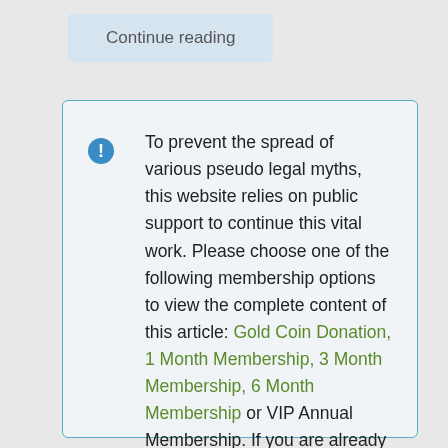Continue reading
To prevent the spread of various pseudo legal myths, this website relies on public support to continue this vital work. Please choose one of the following membership options to view the complete content of this article: Gold Coin Donation, 1 Month Membership, 3 Month Membership, 6 Month Membership or VIP Annual Membership. If you are already a member, Log in here to be redirected